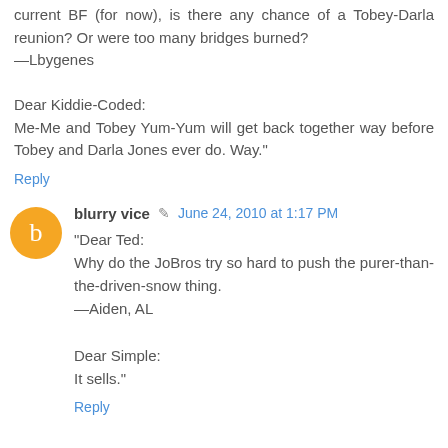current BF (for now), is there any chance of a Tobey-Darla reunion? Or were too many bridges burned?
—Lbygenes

Dear Kiddie-Coded:
Me-Me and Tobey Yum-Yum will get back together way before Tobey and Darla Jones ever do. Way."
Reply
blurry vice
June 24, 2010 at 1:17 PM
"Dear Ted:
Why do the JoBros try so hard to push the purer-than-the-driven-snow thing.
—Aiden, AL

Dear Simple:
It sells."
Reply